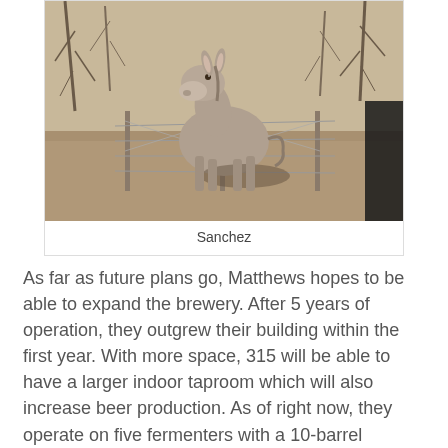[Figure (photo): A donkey standing behind a wire fence in a dry outdoor setting with bare trees in the background. The donkey is gray-brown and faces the camera.]
Sanchez
As far as future plans go, Matthews hopes to be able to expand the brewery. After 5 years of operation, they outgrew their building within the first year. With more space, 315 will be able to have a larger indoor taproom which will also increase beer production. As of right now, they operate on five fermenters with a 10-barrel system. Another addition to be added is a kitchen with plans to serve wood-fired